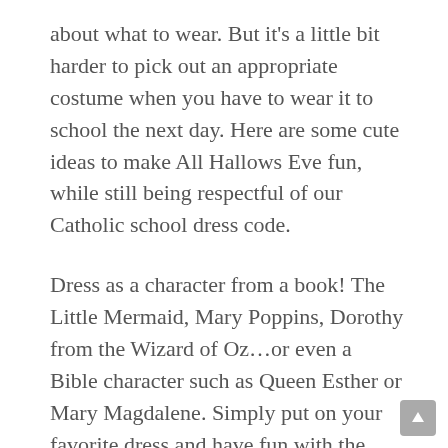about what to wear. But it’s a little bit harder to pick out an appropriate costume when you have to wear it to school the next day. Here are some cute ideas to make All Hallows Eve fun, while still being respectful of our Catholic school dress code.
Dress as a character from a book! The Little Mermaid, Mary Poppins, Dorothy from the Wizard of Oz…or even a Bible character such as Queen Esther or Mary Magdalene. Simply put on your favorite dress and have fun with the accessories. If you’re feeling extra creative, carry around a prop that has something to do with your character!
What do you wear to your kids’ Halloween costume